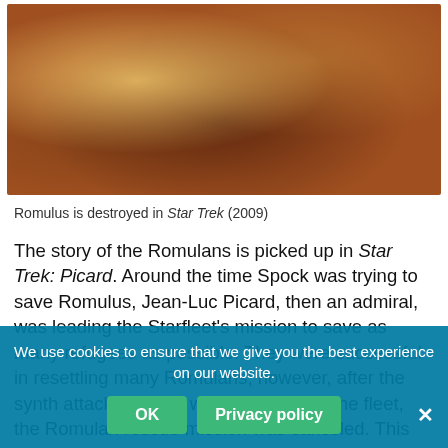[Figure (photo): Partial view of a reddish-brown planet being destroyed, with bright light and clouds visible, from Star Trek (2009)]
Romulus is destroyed in Star Trek (2009)
The story of the Romulans is picked up in Star Trek: Picard. Around the time Spock was trying to save Romulus, Jean-Luc Picard, then an admiral, was leading the Starfleet's mission to save as many refugees as possible. They were successful in resettling many Romulans; however, after the synth attack on Mars which decimated the fleet, the Romulan rescue mission was canceled. This resulted in Picard's resignation from Starfleet. A Romulan boy that Picard had befriended during this period, who was raised by the order of Qowat Milat warrior nu... t... anet Vashti, later became bonded to Picard.
We use cookies to ensure that we give you the best experience on our website.